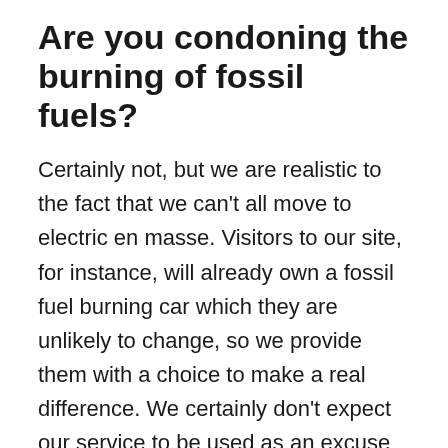Are you condoning the burning of fossil fuels?
Certainly not, but we are realistic to the fact that we can't all move to electric en masse. Visitors to our site, for instance, will already own a fossil fuel burning car which they are unlikely to change, so we provide them with a choice to make a real difference. We certainly don't expect our service to be used as an excuse to increase one's use of fossil fuels. To the contrary, in fact, we see ourselves as a reminder or 'nudge' to think green.